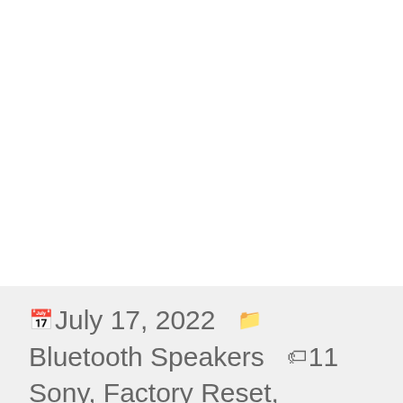📅 July 17, 2022  🗂 Bluetooth Speakers  🏷 11 Sony, Factory Reset, Factory Reset